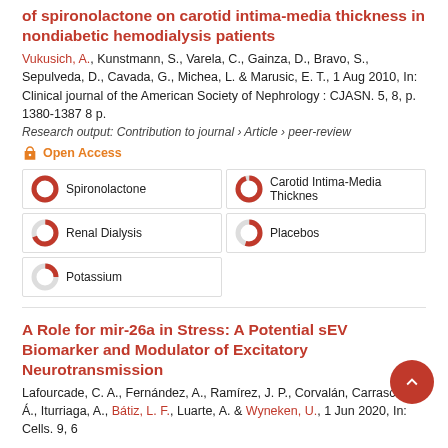of spironolactone on carotid intima-media thickness in nondiabetic hemodialysis patients
Vukusich, A., Kunstmann, S., Varela, C., Gainza, D., Bravo, S., Sepulveda, D., Cavada, G., Michea, L. & Marusic, E. T., 1 Aug 2010, In: Clinical journal of the American Society of Nephrology : CJASN. 5, 8, p. 1380-1387 8 p.
Research output: Contribution to journal › Article › peer-review
Open Access
Spironolactone
Carotid Intima-Media Thicknes
Renal Dialysis
Placebos
Potassium
A Role for mir-26a in Stress: A Potential sEV Biomarker and Modulator of Excitatory Neurotransmission
Lafourcade, C. A., Fernández, A., Ramírez, J. P., Corvalán, Carrasco, M. Á., Iturriaga, A., Bátiz, L. F., Luarte, A. & Wyneken, U., 1 Jun 2020, In: Cells. 9, 6